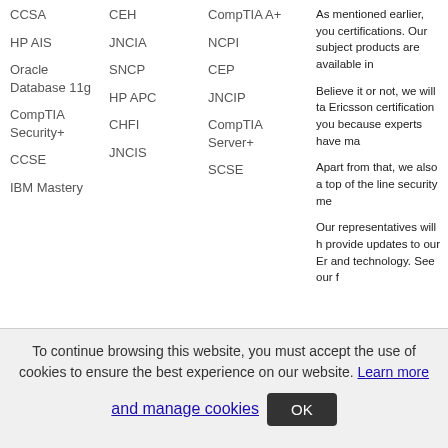CCSA
HP AIS
Oracle Database 11g
CompTIA Security+
CCSE
IBM Mastery
CEH
JNCIA
SNCP
HP APC
CHFI
JNCIS
CompTIA A+
NCPI
CEP
JNCIP
CompTIA Server+
SCSE
Popular Exams
As mentioned earlier, you certifications. Our subject products are available in
Believe it or not, we will ta Ericsson certification you because experts have ma
Apart from that, we also a top of the line security me
Our representatives will h provide updates to our Er and technology. See our f
Selftest Training.com
SelftestTraining-Home
About Us
Site Secure
[Figure (logo): McAfee SECURE logo]
[Figure (logo): PayPal logo]
[Figure (logo): VISA logo (partial)]
To continue browsing this website, you must accept the use of cookies to ensure the best experience on our website. Learn more and manage cookies
OK